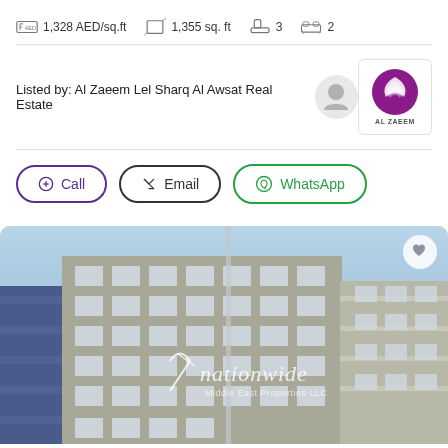1,328 AED/sq.ft   1,355 sq. ft   3   2
Listed by: Al Zaeem Lel Sharq Al Awsat Real Estate
Call   Email   WhatsApp
[Figure (photo): Exterior photo of a multi-story residential apartment building with balconies, blue sky background, watermarked with 'nationwide Middle East Properties LLC']